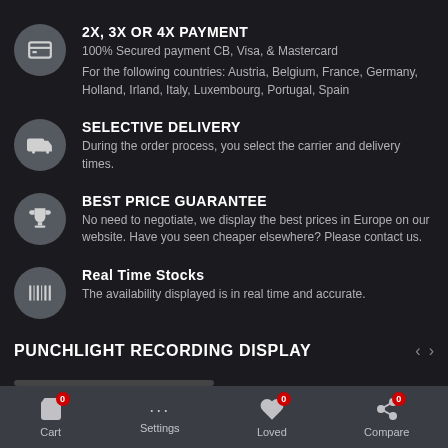2x, 3x or 4x PAYMENT
100% Secured payment CB, Visa, & Mastercard
For the following countries: Austria, Belgium, France, Germany, Holland, Irland, Italy, Luxembourg, Portugal, Spain
SELECTIVE DELIVERY
During the order process, you select the carrier and delivery times.
BEST PRICE GUARANTEE
No need to negotiate, we display the best prices in Europe on our website. Have you seen cheaper elsewhere? Please contact us.
Real Time Stocks
The availability displayed is in real time and accurate.
PUNCHLIGHT RECORDING DISPLAY
Cart 0  Settings  Loved 0  Compare 0